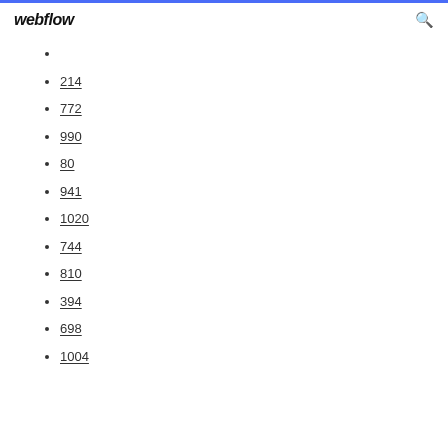webflow
214
772
990
80
941
1020
744
810
394
698
1004